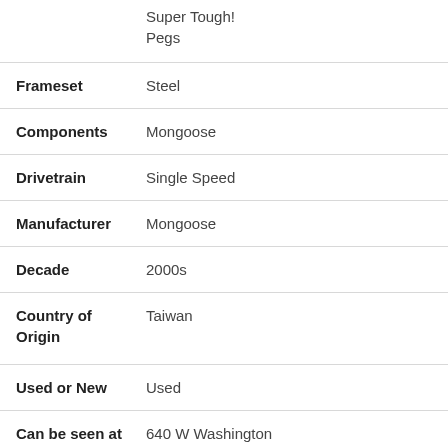| Property | Value |
| --- | --- |
|  | Super Tough! Pegs |
| Frameset | Steel |
| Components | Mongoose |
| Drivetrain | Single Speed |
| Manufacturer | Mongoose |
| Decade | 2000s |
| Country of Origin | Taiwan |
| Used or New | Used |
| Can be seen at | 640 W Washington |